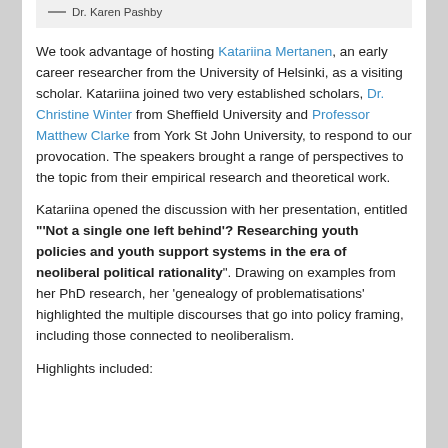[Figure (other): Quote attribution box showing a dash and 'Dr. Karen Pashby']
We took advantage of hosting Katariina Mertanen, an early career researcher from the University of Helsinki, as a visiting scholar. Katariina joined two very established scholars, Dr. Christine Winter from Sheffield University and Professor Matthew Clarke from York St John University, to respond to our provocation. The speakers brought a range of perspectives to the topic from their empirical research and theoretical work.
Katariina opened the discussion with her presentation, entitled "'Not a single one left behind'? Researching youth policies and youth support systems in the era of neoliberal political rationality". Drawing on examples from her PhD research, her 'genealogy of problematisations' highlighted the multiple discourses that go into policy framing, including those connected to neoliberalism.
Highlights included: